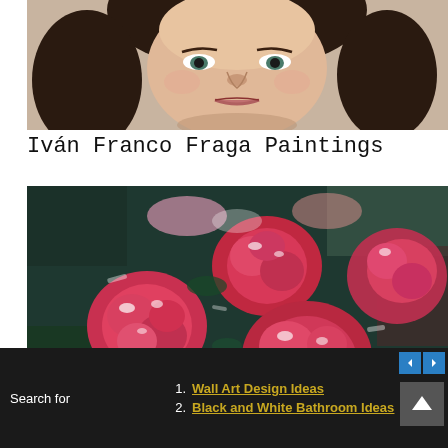[Figure (photo): Close-up portrait photo of a woman with dark hair, pale skin, and neutral expression, shown from forehead to chin against a plain background.]
Iván Franco Fraga Paintings
[Figure (photo): Impressionistic painting of pink and red roses with heavy impasto brushwork on a dark teal/green background, colorful and textured.]
Search for
1. Wall Art Design Ideas
2. Black and White Bathroom Ideas